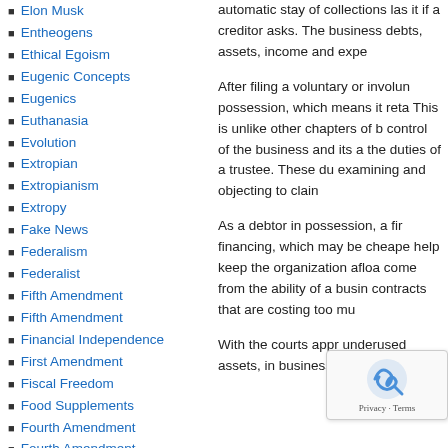Elon Musk
Entheogens
Ethical Egoism
Eugenic Concepts
Eugenics
Euthanasia
Evolution
Extropian
Extropianism
Extropy
Fake News
Federalism
Federalist
Fifth Amendment
Fifth Amendment
Financial Independence
First Amendment
Fiscal Freedom
Food Supplements
Fourth Amendment
Fourth Amendment
Free Speech
Freedom
Freedom of Speech
Futurism
automatic stay of collections last it if a creditor asks. The business debts, assets, income and expe
After filing a voluntary or involun possession, which means it reta This is unlike other chapters of b control of the business and its a the duties of a trustee. These du examining and objecting to clain
As a debtor in possession, a fir financing, which may be cheape help keep the organization afloa come from the ability of a busin contracts that are costing too mu
With the courts appr underused assets, in business can even b